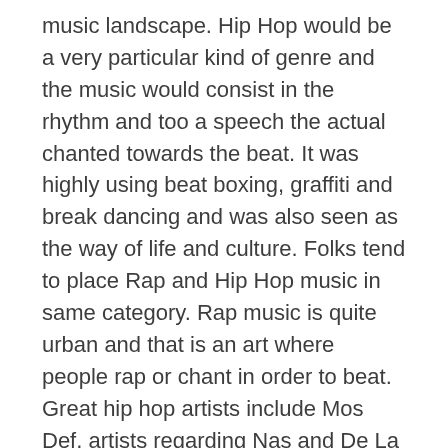music landscape. Hip Hop would be a very particular kind of genre and the music would consist in the rhythm and too a speech the actual chanted towards the beat. It was highly using beat boxing, graffiti and break dancing and was also seen as the way of life and culture. Folks tend to place Rap and Hip Hop music in same category. Rap music is quite urban and that is an art where people rap or chant in order to beat. Great hip hop artists include Mos Def, artists regarding Nas and De La Soul have influenced beats music. Rap artists get been popular today are Rick Ross, 50 Cent and Eminem.
NYC is definitely since been a melting pot of cultures. Different cultures merged their music together to generate many of the genres at this point. These experiments in combining music from different